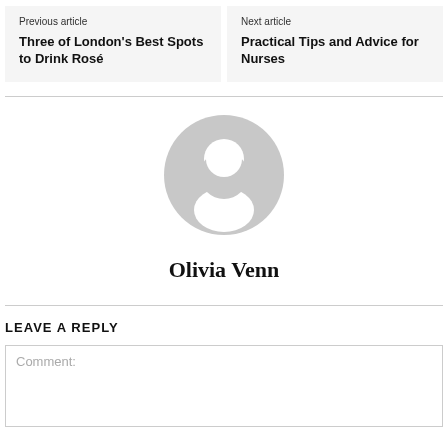Previous article
Three of London's Best Spots to Drink Rosé
Next article
Practical Tips and Advice for Nurses
[Figure (illustration): Generic user avatar placeholder icon in grey]
Olivia Venn
LEAVE A REPLY
Comment: